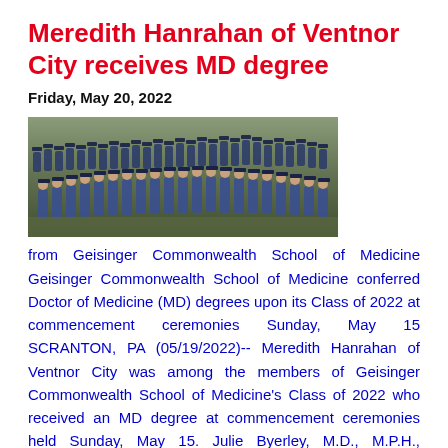Meredith Hanrahan of Ventnor City receives MD degree
Friday, May 20, 2022
[Figure (photo): Group photo of Geisinger Commonwealth School of Medicine graduating class of 2022 in caps and gowns]
from Geisinger Commonwealth School of Medicine Geisinger Commonwealth School of Medicine conferred Doctor of Medicine (MD) degrees upon its Class of 2022 at commencement ceremonies Sunday, May 15 SCRANTON, PA (05/19/2022)-- Meredith Hanrahan of Ventnor City was among the members of Geisinger Commonwealth School of Medicine's Class of 2022 who received an MD degree at commencement ceremonies held Sunday, May 15. Julie Byerley, M.D., M.P.H., Geisinger Commonwealth's president and dean, welcomed guests and graduates. Greetings were